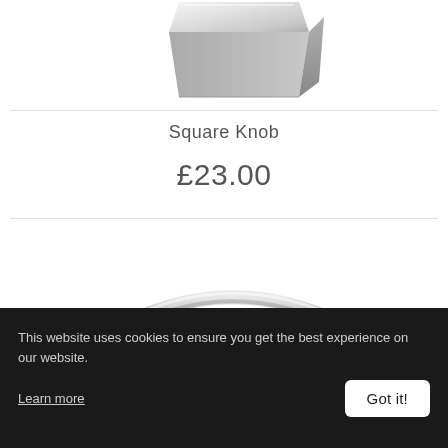[Figure (photo): Partial view of a square chrome cabinet knob hardware product, photographed against white background, shown from below/side angle]
Square Knob
£23.00
[Figure (photo): Partial view of a curved chrome bar handle hardware product, photographed against white background, showing the arch of the handle]
This website uses cookies to ensure you get the best experience on our website.
Learn more
Got it!